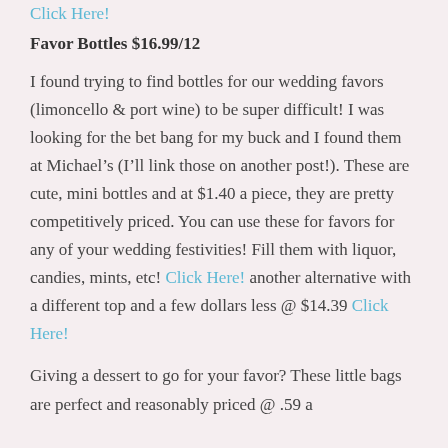Click Here!
Favor Bottles $16.99/12
I found trying to find bottles for our wedding favors (limoncello & port wine) to be super difficult! I was looking for the bet bang for my buck and I found them at Michael’s (I’ll link those on another post!). These are cute, mini bottles and at $1.40 a piece, they are pretty competitively priced. You can use these for favors for any of your wedding festivities! Fill them with liquor, candies, mints, etc! Click Here! another alternative with a different top and a few dollars less @ $14.39 Click Here!
Giving a dessert to go for your favor? These little bags are perfect and reasonably priced @ .59 a